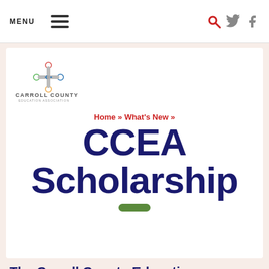MENU
[Figure (logo): Carroll County Education Association logo with geometric cross/star shape and text CARROLL COUNTY EDUCATION ASSOCIATION]
Home » What's New »
CCEA Scholarship
The Carroll County Education